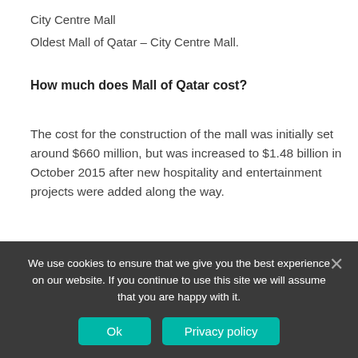City Centre Mall
Oldest Mall of Qatar – City Centre Mall.
How much does Mall of Qatar cost?
The cost for the construction of the mall was initially set around $660 million, but was increased to $1.48 billion in October 2015 after new hospitality and entertainment projects were added along the way.
Which metro station is Mall
We use cookies to ensure that we give you the best experience on our website. If you continue to use this site we will assume that you are happy with it.